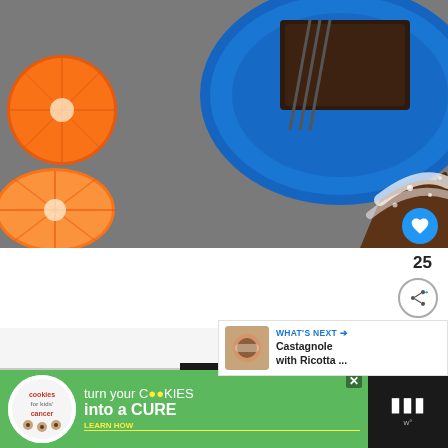[Figure (photo): Overhead view of chocolate cake/brownie on a blue Fiestaware plate with powdered sugar, and halved oranges on a grey surface]
[Figure (photo): Partial view of second food photo showing white marble surface]
25
[Figure (infographic): WHAT'S NEXT arrow banner with thumbnail image of Castagnole with Ricotta and text]
[Figure (infographic): Advertisement: cookies for kids cancer - turn your COOKIES into a CURE LEARN HOW]